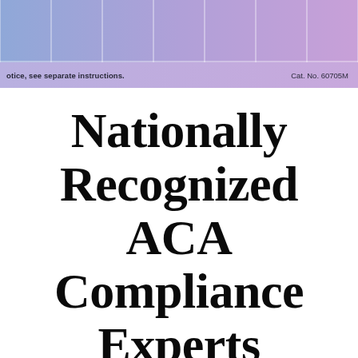otice, see separate instructions.    Cat. No. 60705M
Nationally Recognized ACA Compliance Experts